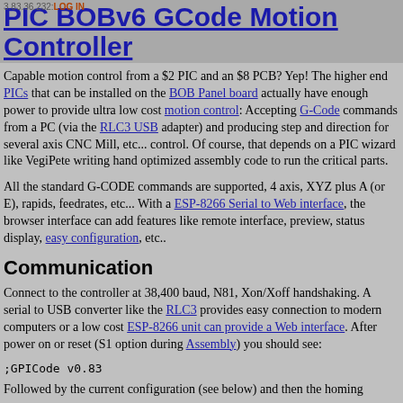3.83.36.232: LOG IN
PIC BOBv6 GCode Motion Controller
Capable motion control from a $2 PIC and an $8 PCB? Yep! The higher end PICs that can be installed on the BOB Panel board actually have enough power to provide ultra low cost motion control: Accepting G-Code commands from a PC (via the RLC3 USB adapter) and producing step and direction for several axis CNC Mill, etc... control. Of course, that depends on a PIC wizard like VegiPete writing hand optimized assembly code to run the critical parts.
All the standard G-CODE commands are supported, 4 axis, XYZ plus A (or E), rapids, feedrates, etc... With a ESP-8266 Serial to Web interface, the browser interface can add features like remote interface, preview, status display, easy configuration, etc..
Communication
Connect to the controller at 38,400 baud, N81, Xon/Xoff handshaking. A serial to USB converter like the RLC3 provides easy connection to modern computers or a low cost ESP-8266 unit can provide a Web interface. After power on or reset (S1 option during Assembly) you should see:
;GPICode v0.83
Followed by the current configuration (see below) and then the homing